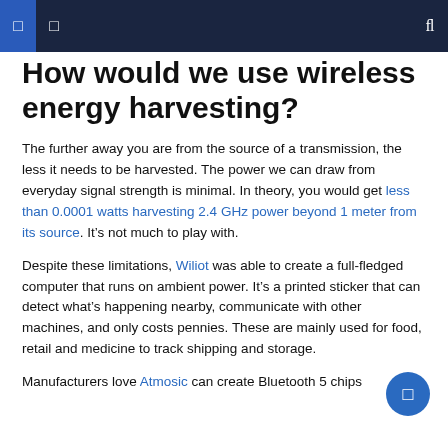How would we use wireless energy harvesting?
The further away you are from the source of a transmission, the less it needs to be harvested. The power we can draw from everyday signal strength is minimal. In theory, you would get less than 0.0001 watts harvesting 2.4 GHz power beyond 1 meter from its source. It’s not much to play with.
Despite these limitations, Wiliot was able to create a full-fledged computer that runs on ambient power. It’s a printed sticker that can detect what’s happening nearby, communicate with other machines, and only costs pennies. These are mainly used for food, retail and medicine to track shipping and storage.
Manufacturers love Atmosic can create Bluetooth 5 chips